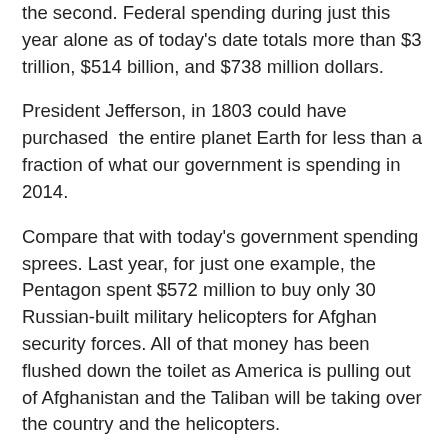the second. Federal spending during just this year alone as of today's date totals more than $3 trillion, $514 billion, and $738 million dollars.
President Jefferson, in 1803 could have purchased the entire planet Earth for less than a fraction of what our government is spending in 2014.
Compare that with today's government spending sprees. Last year, for just one example, the Pentagon spent $572 million to buy only 30 Russian-built military helicopters for Afghan security forces. All of that money has been flushed down the toilet as America is pulling out of Afghanistan and the Taliban will be taking over the country and the helicopters.
Jefferson spent only about half that much money and we lucky Americans received in perpetuity about a third of the land in our entire nation. We'll own that land forever and it cost us less than 30 Russian helicopters abandoned in Afghanistan. Would you rather have 828,000 square miles of prime American heartland or 30 Russian made helicopters